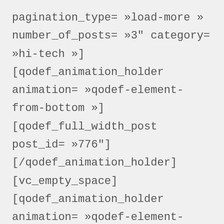pagination_type= »load-more » number_of_posts= »3" category= »hi-tech »][qodef_animation_holder animation= »qodef-element-from-bottom »][qodef_full_width_post post_id= »776"] [/qodef_animation_holder] [vc_empty_space] [qodef_animation_holder animation= »qodef-element-from-bottom »][qodef_full_width_post post_id= »777"] [/qodef_animation_holder][/vc_column] [/vc_row][vc_row row_content_width= »grid » css= »vc_custom_1496664169371{padding-